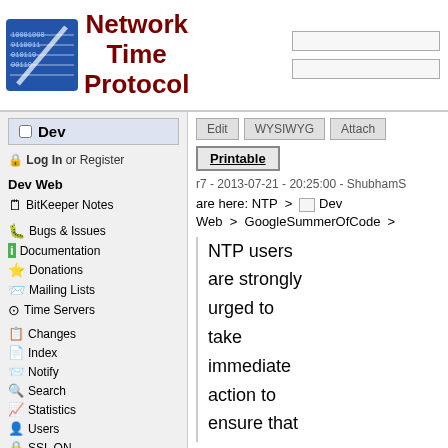Network Time Protocol
Dev
Log In or Register
Dev Web
BitKeeper Notes
Bugs & Issues
Documentation
Donations
Mailing Lists
Time Servers
Changes
Index
Notify
Search
Statistics
Users
SSL ON
Edit   WYSIWYG   Attach
Printable
r7 - 2013-07-21 - 20:25:00 - ShubhamS
are here: NTP  >  Dev Web  >  GoogleSummerOfCode  >
NTP users are strongly urged to take immediate action to ensure that their NTP daemons are not susceptible to being